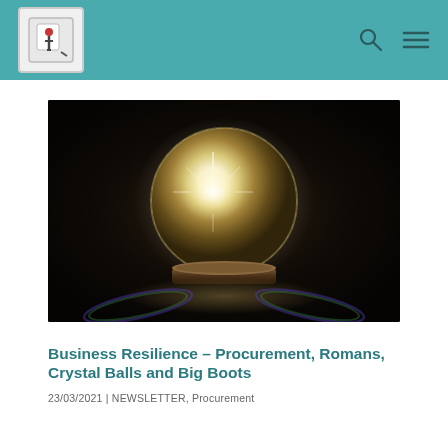Website header with logo and navigation icons
[Figure (photo): A glowing crystal ball on a dark background, sitting on a decorative base with rainbow light reflections on the surface beneath it]
Business Resilience – Procurement, Romans, Crystal Balls and Big Boots
23/03/2021 | NEWSLETTER, Procurement